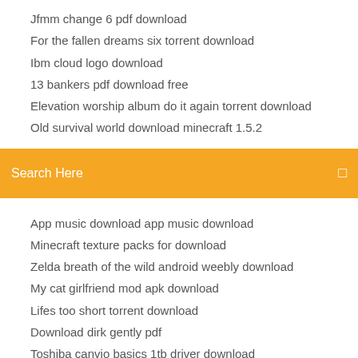Jfmm change 6 pdf download
For the fallen dreams six torrent download
Ibm cloud logo download
13 bankers pdf download free
Elevation worship album do it again torrent download
Old survival world download minecraft 1.5.2
[Figure (screenshot): Orange search bar with white text 'Search Here' and a small icon on the right]
App music download app music download
Minecraft texture packs for download
Zelda breath of the wild android weebly download
My cat girlfriend mod apk download
Lifes too short torrent download
Download dirk gently pdf
Toshiba canvio basics 1tb driver download
Disney gaming app downloads
Microsoft boot image file download
How to download youtube music app